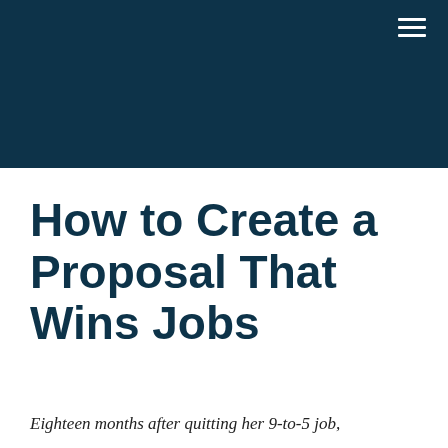[Figure (other): Dark teal/navy header banner background with hamburger menu icon (three horizontal white lines) in the top-right corner]
How to Create a Proposal That Wins Jobs
Eighteen months after quitting her 9-to-5 job,